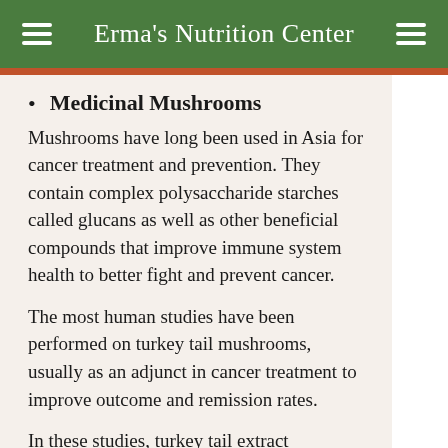Erma's Nutrition Center
Medicinal Mushrooms
Mushrooms have long been used in Asia for cancer treatment and prevention. They contain complex polysaccharide starches called glucans as well as other beneficial compounds that improve immune system health to better fight and prevent cancer.
The most human studies have been performed on turkey tail mushrooms, usually as an adjunct in cancer treatment to improve outcome and remission rates.
In these studies, turkey tail extract